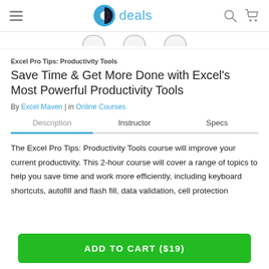deals
Excel Pro Tips: Productivity Tools
Save Time & Get More Done with Excel's Most Powerful Productivity Tools
By Excel Maven | in Online Courses
Description | Instructor | Specs
The Excel Pro Tips: Productivity Tools course will improve your current productivity. This 2-hour course will cover a range of topics to help you save time and work more efficiently, including keyboard shortcuts, autofill and flash fill, data validation, cell protection
ADD TO CART ($19)